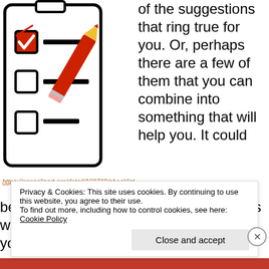[Figure (illustration): Checklist clipboard illustration with a red pencil. Shows a clipboard with three checkbox items, the top one checked with a red checkmark, and a red pencil overlaid diagonally.]
https://openclipart.org/detail/169719/checklist
of the suggestions that ring true for you. Or, perhaps there are a few of them that you can combine into something that will help you.  It could be, too, that reviewing these suggestions will spark ideas of your own.
Privacy & Cookies: This site uses cookies. By continuing to use this website, you agree to their use.
To find out more, including how to control cookies, see here: Cookie Policy
Close and accept